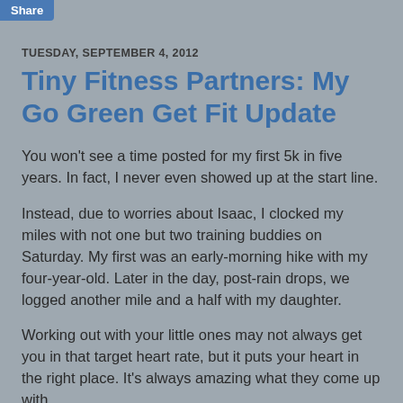Share
TUESDAY, SEPTEMBER 4, 2012
Tiny Fitness Partners: My Go Green Get Fit Update
You won't see a time posted for my first 5k in five years. In fact, I never even showed up at the start line.
Instead, due to worries about Isaac, I clocked my miles with not one but two training buddies on Saturday. My first was an early-morning hike with my four-year-old. Later in the day, post-rain drops, we logged another mile and a half with my daughter.
Working out with your little ones may not always get you in that target heart rate, but it puts your heart in the right place. It's always amazing what they come up with.
Sharing my exercise journey with my children has been one of my biggest joys of this challenge. While initially I was